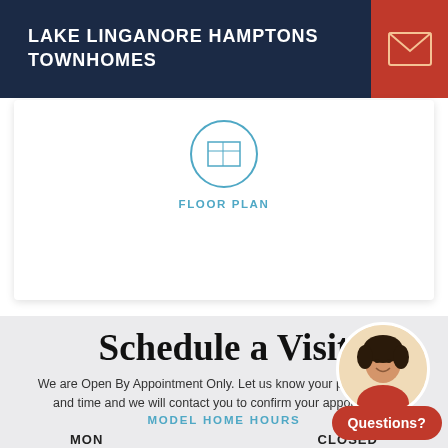LAKE LINGANORE HAMPTONS TOWNHOMES
[Figure (other): Envelope/email icon in orange-red square button]
[Figure (other): Floor plan icon circle with grid lines inside]
FLOOR PLAN
Schedule a Visit
We are Open By Appointment Only. Let us know your preferred day and time and we will contact you to confirm your appointment.
MODEL HOME HOURS
MON   CLOSED
TUE-SUN   BY APPT ONLY
[Figure (photo): Agent headshot photo of woman with curly dark hair, smiling, in circular crop]
Questions?